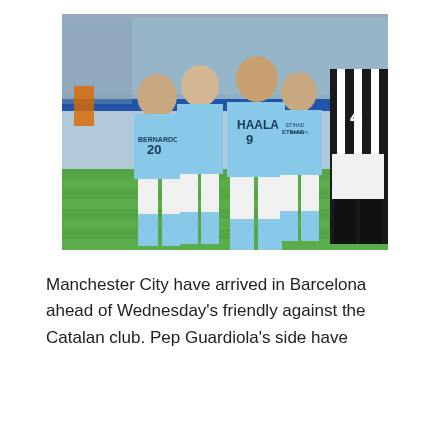[Figure (photo): Manchester City players in light blue kits celebrating on a football pitch. Player with number 20 (BERNARDO) and number 9 (HAALAND) visible. A Newcastle player in black-and-white striped kit with number 4 is seen on the right. Players are hugging and celebrating a goal.]
Manchester City have arrived in Barcelona ahead of Wednesday's friendly against the Catalan club. Pep Guardiola's side have